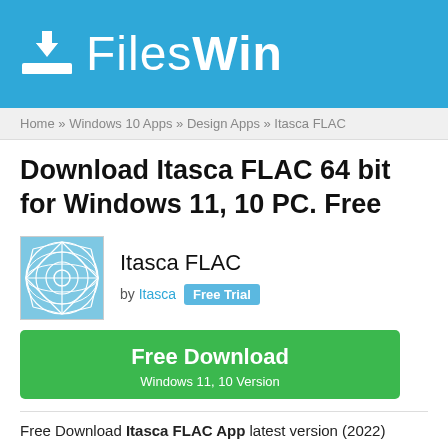FilesWin
Home » Windows 10 Apps » Design Apps » Itasca FLAC
Download Itasca FLAC 64 bit for Windows 11, 10 PC. Free
[Figure (logo): Itasca FLAC app icon — blue grid/mesh circle pattern on light blue background]
Itasca FLAC
by Itasca  Free Trial
Free Download
Windows 11, 10 Version
Free Download Itasca FLAC App latest version (2022)